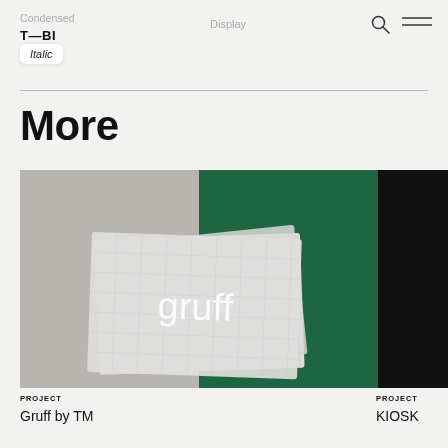Condensed  T—BI  Italic  Display
More
[Figure (photo): Photo of stacked business cards with 'gruff' text on a half-grey, half-dark-green background]
PROJECT
Gruff by TM
[Figure (photo): Partially visible dark/black image on the right side]
PROJECT
KIOSK